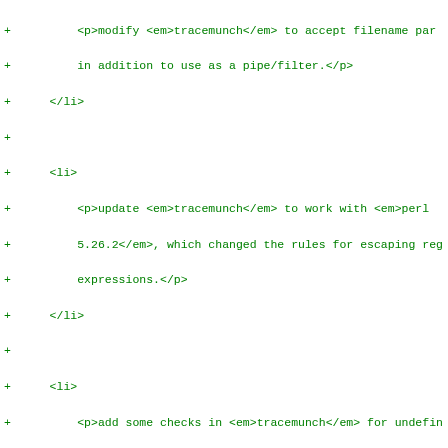diff code showing modifications to tracemunch, update to perl 5.26.2, undefined variable checks, TurnOn/TurnOff macro modifications, demo/test programs listing with color_content and extended_color_content functions